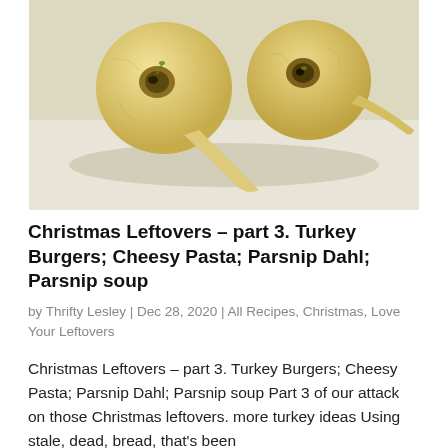[Figure (photo): Three parsnips arranged on a white/light grey background, showing the round tops and tapering roots, cream/yellow-white in color.]
Christmas Leftovers – part 3. Turkey Burgers; Cheesy Pasta; Parsnip Dahl; Parsnip soup
by Thrifty Lesley | Dec 28, 2020 | All Recipes, Christmas, Love Your Leftovers
Christmas Leftovers – part 3. Turkey Burgers; Cheesy Pasta; Parsnip Dahl; Parsnip soup Part 3 of our attack on those Christmas leftovers. more turkey ideas Using stale, dead, bread, that's been sitting histor bec on those m